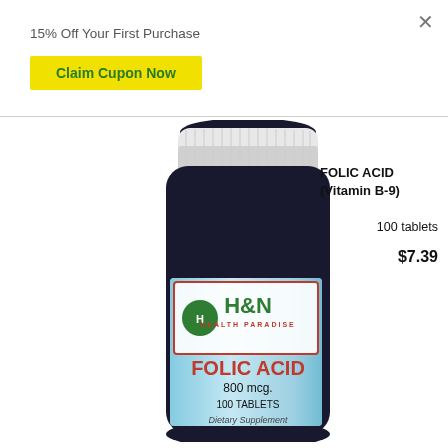15% Off Your First Purchase
Claim Cupon Now
[Figure (photo): H&N Health Paradise Folic Acid supplement bottle, 800 mcg, 100 tablets, dark bottle with light blue label and white cap]
FOLIC ACID (Vitamin B-9)
100 tablets
$7.39